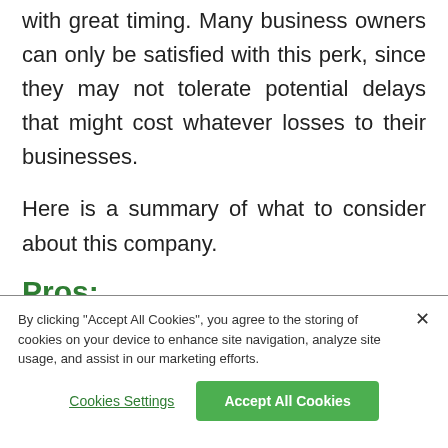with great timing. Many business owners can only be satisfied with this perk, since they may not tolerate potential delays that might cost whatever losses to their businesses.
Here is a summary of what to consider about this company.
Pros:
By clicking "Accept All Cookies", you agree to the storing of cookies on your device to enhance site navigation, analyze site usage, and assist in our marketing efforts.